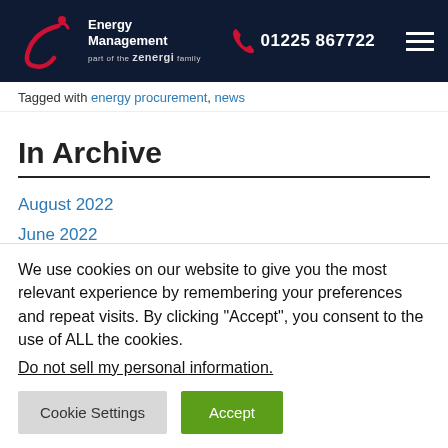Energy Management part of the zenergi family | 01225 867722
Tagged with energy procurement, news
In Archive
August 2022
June 2022
May 2022
We use cookies on our website to give you the most relevant experience by remembering your preferences and repeat visits. By clicking “Accept”, you consent to the use of ALL the cookies. Do not sell my personal information.